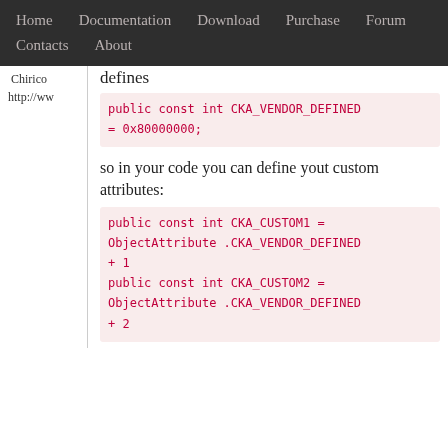Home   Documentation   Download   Purchase   Forum   Contacts   About
Chirico
http://ww
defines
public const int CKA_VENDOR_DEFINED = 0x80000000;
so in your code you can define yout custom attributes:
public const int CKA_CUSTOM1 = ObjectAttribute .CKA_VENDOR_DEFINED + 1
public const int CKA_CUSTOM2 = ObjectAttribute .CKA_VENDOR_DEFINED + 2